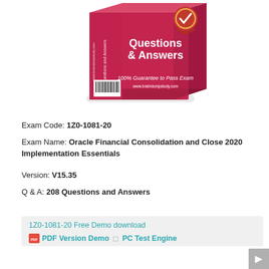[Figure (photo): Product box image showing a red/pink book-like box labeled 'Questions & Answers' with '100% Guarantee to Pass Exam' text and a checkmark badge, branded for braindumpstudy.com]
Exam Code: 1Z0-1081-20
Exam Name: Oracle Financial Consolidation and Close 2020 Implementation Essentials
Version: V15.35
Q & A: 208 Questions and Answers
1Z0-1081-20 Free Demo download
PDF Version Demo  □  PC Test Engine